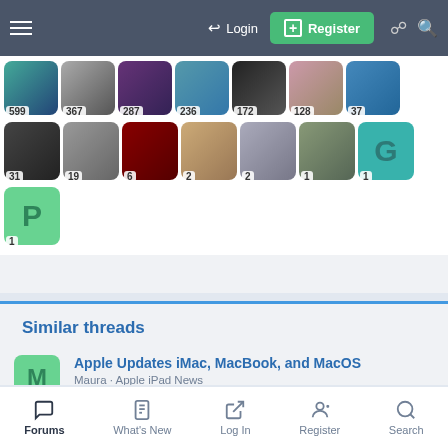Login  Register
[Figure (screenshot): Avatar grid showing user avatars with counts: 599, 367, 287, 236, 172, 128, 37 (top row); 31, 19, 6, 2, 2, 1, 1 (second row); 1 (third row, P placeholder)]
Similar threads
Apple Updates iMac, MacBook, and MacOS
Maura · Apple iPad News
Replies: 0 · Jun 6, 2017
Forums  What's New  Log In  Register  Search